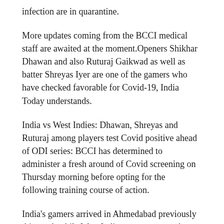infection are in quarantine.
More updates coming from the BCCI medical staff are awaited at the moment.Openers Shikhar Dhawan and also Ruturaj Gaikwad as well as batter Shreyas Iyer are one of the gamers who have checked favorable for Covid-19, India Today understands.
India vs West Indies: Dhawan, Shreyas and Ruturaj among players test Covid positive ahead of ODI series: BCCI has determined to administer a fresh around of Covid screening on Thursday morning before opting for the following training course of action.
India's gamers arrived in Ahmedabad previously this week while West Indies gamers got to the metropolitan area earlier in the day.